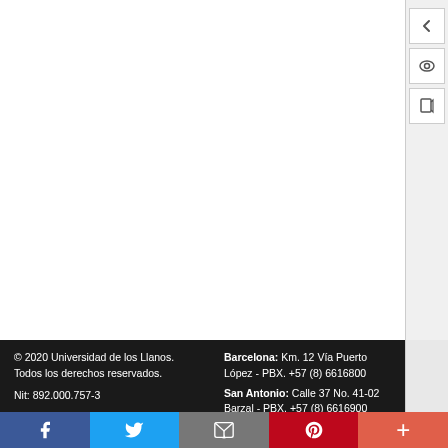[Figure (screenshot): White content area (browser document viewer) - blank/empty white space]
© 2020 Universidad de los Llanos.
Todos los derechos reservados.

Nit: 892.000.757-3

Linea Gratuita PQRs:
018000918641

Barcelona: Km. 12 Vía Puerto López - PBX. +57 (8) 6616800

San Antonio: Calle 37 No. 41-02 Barzal - PBX. +57 (8) 6616900

Emporio: Calle 40 A No. 28-32 Emporio - +57 (8) 6734700